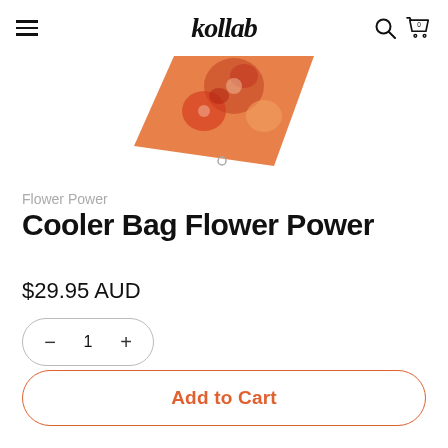kollab
[Figure (photo): Partial view of a Cooler Bag Flower Power product image, showing floral patterned bag against white background]
Flower Power
Cooler Bag Flower Power
$29.95 AUD
− 1 +
Add to Cart